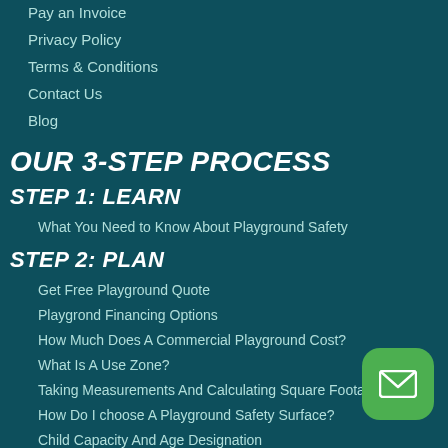Pay an Invoice
Privacy Policy
Terms & Conditions
Contact Us
Blog
OUR 3-STEP PROCESS
STEP 1: LEARN
What You Need to Know About Playground Safety
STEP 2: PLAN
Get Free Playground Quote
Playgrond Financing Options
How Much Does A Commercial Playground Cost?
What Is A Use Zone?
Taking Measurements And Calculating Square Footage
How Do I choose A Playground Safety Surface?
Child Capacity And Age Designation
STEP 3: BUILD